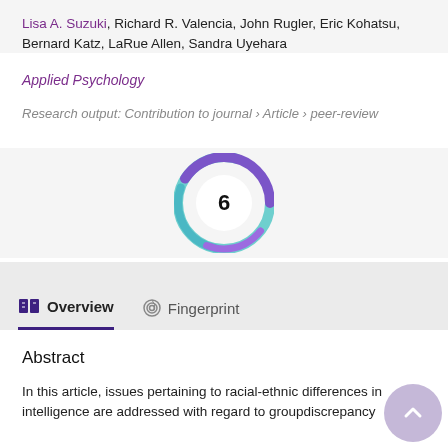Lisa A. Suzuki, Richard R. Valencia, John Rugler, Eric Kohatsu, Bernard Katz, LaRue Allen, Sandra Uyehara
Applied Psychology
Research output: Contribution to journal › Article › peer-review
[Figure (other): Circular badge/logo with swirling blue-green and purple colors and the number 6 in the center white circle]
Overview   Fingerprint
Abstract
In this article, issues pertaining to racial-ethnic differences in intelligence are addressed with regard to groupdiscrepancy